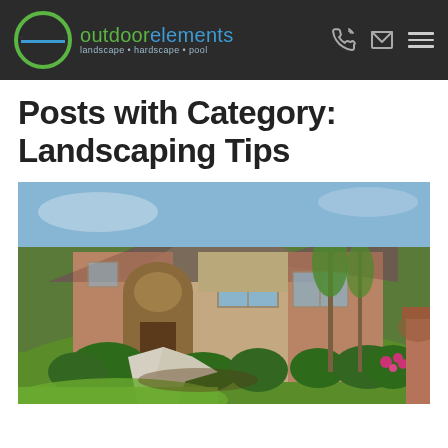outdoor elements — landscape · hardscape · pool
Posts with Category: Landscaping Tips
[Figure (photo): Exterior of a brick home with arched front entry, landscaped garden with green lawn, curved white walkway, shrubs and flowering plants, and tall thin trees.]